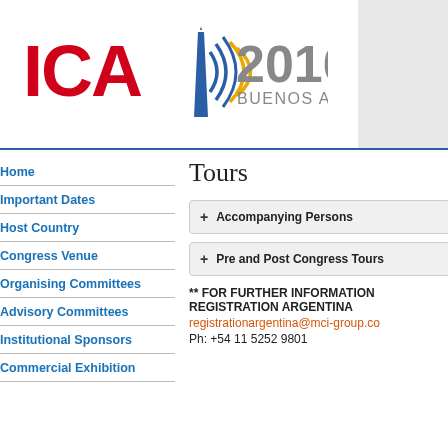[Figure (logo): ICA 2016 Buenos Aires conference logo with red ICA text, blue/yellow sound wave graphic, and '2016 BUENOS AIRES' in gray text]
Tours
Home
Important Dates
Host Country
Congress Venue
Organising Committees
Advisory Committees
Institutional Sponsors
Commercial Exhibition
+ Accompanying Persons
+ Pre and Post Congress Tours
** FOR FURTHER INFORMATION REGISTRATION ARGENTINA registrationargentina@mci-group.com Ph: +54 11 5252 9801